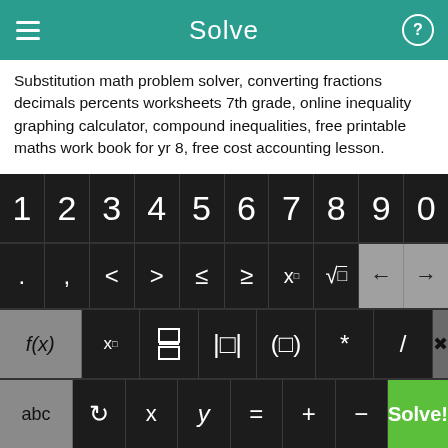Solve
Substitution math problem solver, converting fractions decimals percents worksheets 7th grade, online inequality graphing calculator, compound inequalities, free printable maths work book for yr 8, free cost accounting lesson.
Absolute value worksheets, negative and positive number practice on math website, calculating age in algebra, calculate greatest common divider, "simple algebra" worksheet, fourth order matrix determinant calculator.
[Figure (screenshot): Calculator keyboard with digit keys 1-9,0 on top row; operator keys (. , < > ≤ ≥ x□ √□) with back/forward arrows; function row (f(x), x□, fraction, absolute value, parentheses, *, /, delete); bottom row (abc, undo, x, y, =, +, -, Solve! in green)]